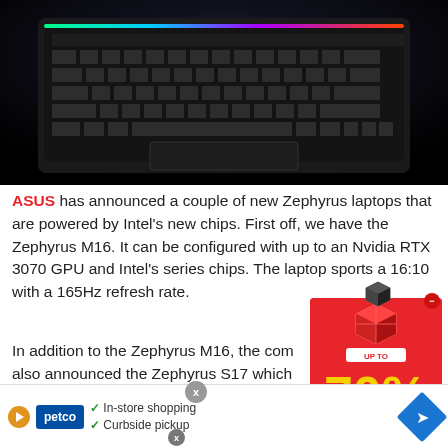[Figure (photo): Top-down view of a dark gaming laptop keyboard with RGB lighting on black background]
ASUS has announced a couple of new Zephyrus laptops that are powered by Intel's new chips. First off, we have the Zephyrus M16. It can be configured with up to an Nvidia RTX 3070 GPU and Intel's series chips. The laptop sports a 16:10 with a 165Hz refresh rate.
In addition to the Zephyrus M16, the company also announced the Zephyrus S17 which is the premiere an Intel C Nvidia
[Figure (advertisement): Red box ad showing 70% OFF sale with product images]
[Figure (advertisement): Petco ad banner showing In-store shopping and Curbside pickup options]